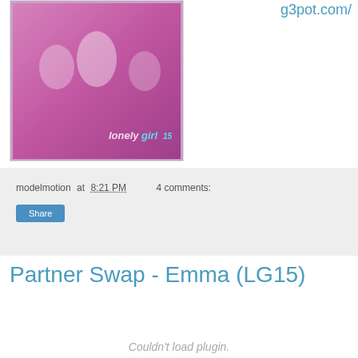[Figure (photo): Photo with lonelygirl15 branding showing group of people with colorful background]
g3pot.com/
modelmotion at 8:21 PM   4 comments:
Share
Partner Swap - Emma (LG15)
Couldn't load plugin.